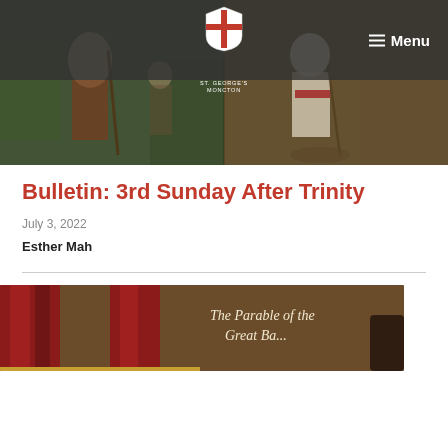ST. GEORGE'S MONCTON | Menu
[Figure (photo): Two-panel hero image showing biblical/medieval painting scenes with figures holding staffs]
Bulletin: 3rd Sunday After Trinity
July 3, 2022
Esther Mah
[Figure (photo): Bottom image showing a theatrical or artistic scene with red curtains and text 'The Parable of the Great Ba...']